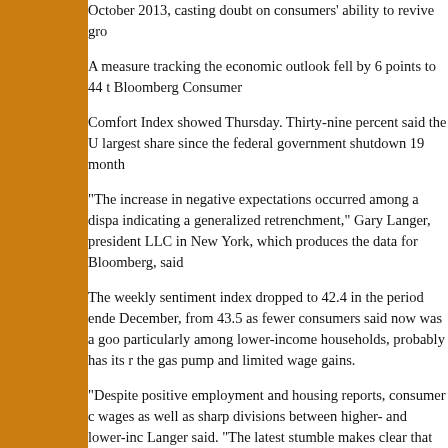October 2013, casting doubt on consumers' ability to revive gro
A measure tracking the economic outlook fell by 6 points to 44 t Bloomberg Consumer
Comfort Index showed Thursday. Thirty-nine percent said the U largest share since the federal government shutdown 19 month
“The increase in negative expectations occurred among a dispa indicating a generalized retrenchment,” Gary Langer, president LLC in New York, which produces the data for Bloomberg, said
The weekly sentiment index dropped to 42.4 in the period ende December, from 43.5 as fewer consumers said now was a goo particularly among lower-income households, probably has its r the gas pump and limited wage gains.
“Despite positive employment and housing reports, consumer c wages as well as sharp divisions between higher- and lower-inc Langer said. “The latest stumble makes clear that economic tra Americans.”
The U.S. economy has largely disappointed this year, with wea last week capping a recent run of reports showing scant momen